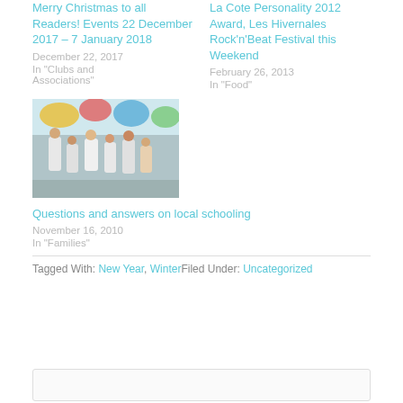Merry Christmas to all Readers! Events 22 December 2017 – 7 January 2018
December 22, 2017
In "Clubs and Associations"
La Cote Personality 2012 Award, Les Hivernales Rock'n'Beat Festival this Weekend
February 26, 2013
In "Food"
[Figure (photo): Children in white shirts walking in a parade or festival, with colorful decorations overhead.]
Questions and answers on local schooling
November 16, 2010
In "Families"
Tagged With: New Year, WinterFiled Under: Uncategorized